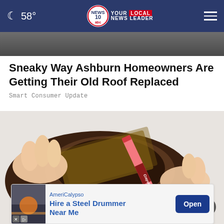58° NEWS 10 abc YOUR LOCAL NEWS LEADER
[Figure (screenshot): Partial view of a dark rooftop/vehicle image at the top of the article]
Sneaky Way Ashburn Homeowners Are Getting Their Old Roof Replaced
Smart Consumer Update
[Figure (photo): Hands holding an open wallet with a Crayola crayon inside instead of money]
[Figure (screenshot): Advertisement banner: AmeriCalypso - Hire a Steel Drummer Near Me - Open button]